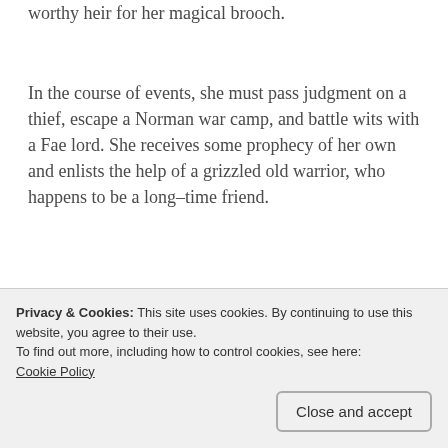worthy heir for her magical brooch.
In the course of events, she must pass judgment on a thief, escape a Norman war camp, and battle wits with a Fae lord. She receives some prophecy of her own and enlists the help of a grizzled old warrior, who happens to be a long–time friend.
Excerpt:
As they entered the bustling market, many
Privacy & Cookies: This site uses cookies. By continuing to use this website, you agree to their use.
To find out more, including how to control cookies, see here:
Cookie Policy
Close and accept